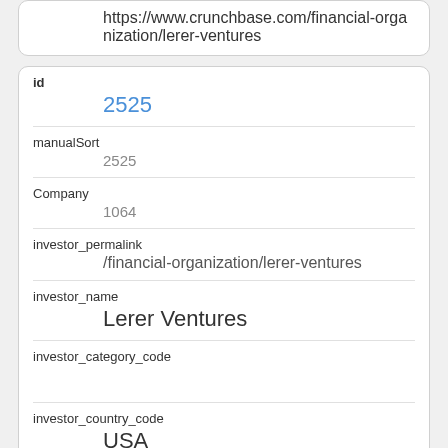https://www.crunchbase.com/financial-organization/lerer-ventures
| id | 2525 |
| manualSort | 2525 |
| Company | 1064 |
| investor_permalink | /financial-organization/lerer-ventures |
| investor_name | Lerer Ventures |
| investor_category_code |  |
| investor_country_code | USA |
| investor_state_code | NY |
| investor_region | New York |